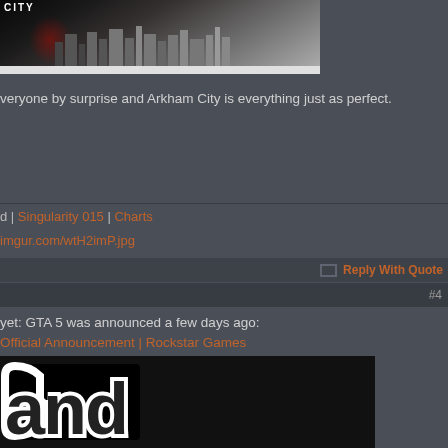[Figure (screenshot): Partial game banner image showing 'CITY' text and a dark cityscape silhouette with a white strip below]
veryone by surprise and Arkham City is everything just as perfect.
d | Singularity 015 | Charts
imgur.com/wtH2imP.jpg
Reply With Quote
#4
yet: GTA 5 was announced a few days ago:
Official Announcement | Rockstar Games
[Figure (screenshot): Partial GTA game logo image showing stylized letter art on black background]